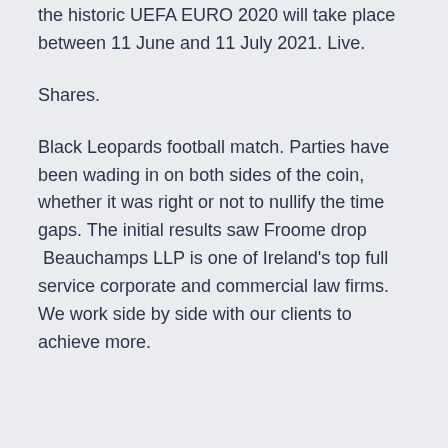the historic UEFA EURO 2020 will take place between 11 June and 11 July 2021. Live.
Shares.
Black Leopards football match. Parties have been wading in on both sides of the coin, whether it was right or not to nullify the time gaps. The initial results saw Froome drop  Beauchamps LLP is one of Ireland's top full service corporate and commercial law firms. We work side by side with our clients to achieve more.